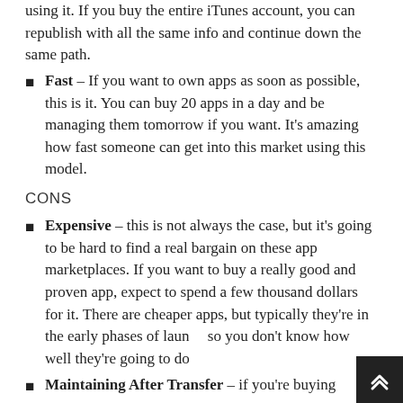using it. If you buy the entire iTunes account, you can republish with all the same info and continue down the same path.
Fast – If you want to own apps as soon as possible, this is it. You can buy 20 apps in a day and be managing them tomorrow if you want. It's amazing how fast someone can get into this market using this model.
CONS
Expensive – this is not always the case, but it's going to be hard to find a real bargain on these app marketplaces. If you want to buy a really good and proven app, expect to spend a few thousand dollars for it. There are cheaper apps, but typically they're in the early phases of launch so you don't know how well they're going to do
Maintaining After Transfer – if you're buying